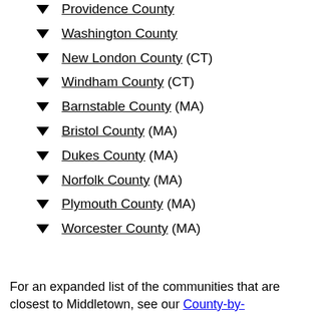▼ Providence County
▼ Washington County
▼ New London County (CT)
▼ Windham County (CT)
▼ Barnstable County (MA)
▼ Bristol County (MA)
▼ Dukes County (MA)
▼ Norfolk County (MA)
▼ Plymouth County (MA)
▼ Worcester County (MA)
For an expanded list of the communities that are closest to Middletown, see our County-by-